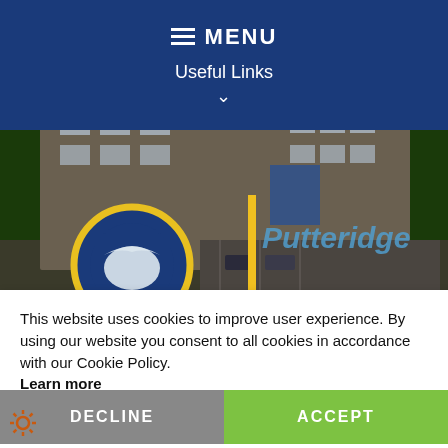MENU
Useful Links
[Figure (photo): Aerial rendering of a modern school building (Putteridge) with solar panels on the roof, parking area, and surrounding greenery. The school logo (blue circle with eagle motif) is visible in the lower left of the image, and 'Putteridge' is overlaid in blue italic text.]
This website uses cookies to improve user experience. By using our website you consent to all cookies in accordance with our Cookie Policy. Learn more